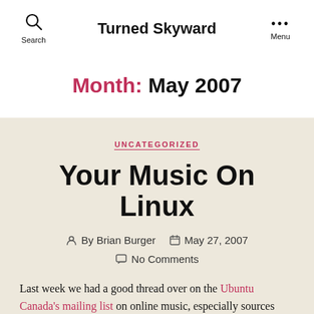Search  Turned Skyward  Menu
Month: May 2007
UNCATEGORIZED
Your Music On Linux
By Brian Burger   May 27, 2007
No Comments
Last week we had a good thread over on the Ubuntu Canada's mailing list on online music, especially sources